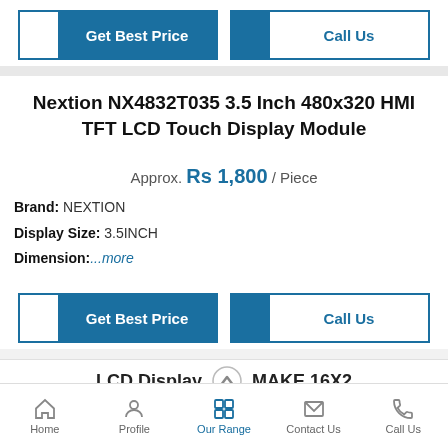[Figure (screenshot): Get Best Price button (blue and white) and Call Us button (white with blue text)]
Nextion NX4832T035 3.5 Inch 480x320 HMI TFT LCD Touch Display Module
Approx. Rs 1,800 / Piece
Brand: NEXTION
Display Size: 3.5INCH
Dimension:...more
[Figure (screenshot): Get Best Price button (blue and white) and Call Us button (white with blue text)]
LCD Display MAKE 16X2
Home | Profile | Our Range | Contact Us | Call Us